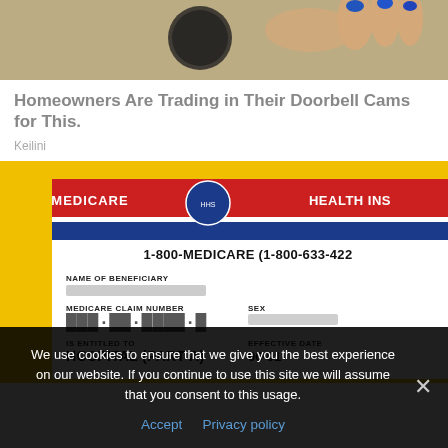[Figure (photo): Top of page showing a partial photo of a hand with blue nail polish resting on a sandy or stone-textured surface, cropped at the top of the page.]
Homeowners Are Trading in Their Doorbell Cams for This.
Keilini
[Figure (photo): Photo of a Medicare Health Insurance card against a bright yellow background. The card shows: MEDICARE | HEALTH INS, 1-800-MEDICARE (1-800-633-4227), NAME OF BENEFICIARY (blurred), MEDICARE CLAIM NUMBER (blurred barcode-style), SEX (blurred), IS ENTITLED TO, HOSPITAL (PART A), EFFECTIVE DATE 06-01-]
We use cookies to ensure that we give you the best experience on our website. If you continue to use this site we will assume that you consent to this usage.
Accept   Privacy policy